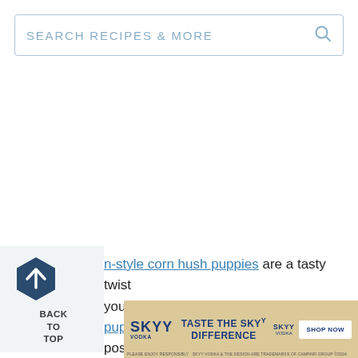SEARCH RECIPES & MORE
n-style corn hush puppies are a tasty twist you might want to try beer-battered hush puppies as well. If you like it's also possible to
[Figure (other): SKYY Vodka advertisement banner with logo, 'TASTE THE SKYY DIFFERENCE' text and SHOP NOW button]
BACK TO TOP